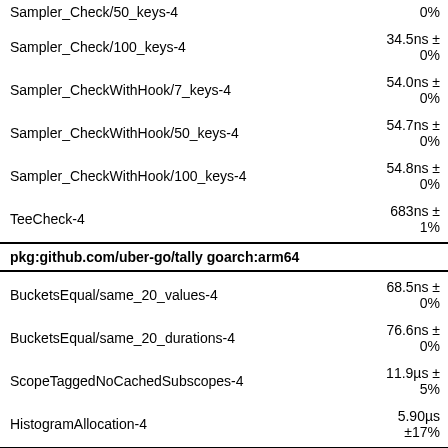| Benchmark | Time |
| --- | --- |
| Sampler_Check/50_keys-4 | 0% |
| Sampler_Check/100_keys-4 | 34.5ns ± 0% |
| Sampler_CheckWithHook/7_keys-4 | 54.0ns ± 0% |
| Sampler_CheckWithHook/50_keys-4 | 54.7ns ± 0% |
| Sampler_CheckWithHook/100_keys-4 | 54.8ns ± 0% |
| TeeCheck-4 | 683ns ± 1% |
| pkg:github.com/uber-go/tally goarch:arm64 |  |
| BucketsEqual/same_20_values-4 | 68.5ns ± 0% |
| BucketsEqual/same_20_durations-4 | 76.6ns ± 0% |
| ScopeTaggedNoCachedSubscopes-4 | 11.9µs ± 5% |
| HistogramAllocation-4 | 5.90µs ±17% |
| pkg:github.com/kevinburke/go-bindata goarch:arm64 |  |
| Bindata-4 | 510ms ± 9% |
| pkg:github.com/cespare/mph goarch:arm64 |  |